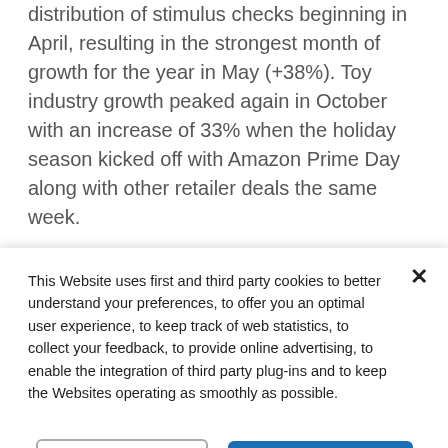distribution of stimulus checks beginning in April, resulting in the strongest month of growth for the year in May (+38%). Toy industry growth peaked again in October with an increase of 33% when the holiday season kicked off with Amazon Prime Day along with other retailer deals the same week.
“2020 was an unprecedented year for the U.S. toy industry. The growth we’ve seen in the toy industry
This Website uses first and third party cookies to better understand your preferences, to offer you an optimal user experience, to keep track of web statistics, to collect your feedback, to provide online advertising, to enable the integration of third party plug-ins and to keep the Websites operating as smoothly as possible.
Cookies Settings
Accept All Cookies